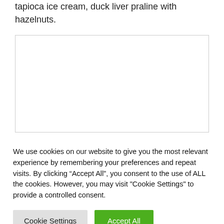tapioca ice cream, duck liver praline with hazelnuts.
[Figure (other): Empty white bordered box representing an image placeholder]
We use cookies on our website to give you the most relevant experience by remembering your preferences and repeat visits. By clicking “Accept All”, you consent to the use of ALL the cookies. However, you may visit "Cookie Settings" to provide a controlled consent.